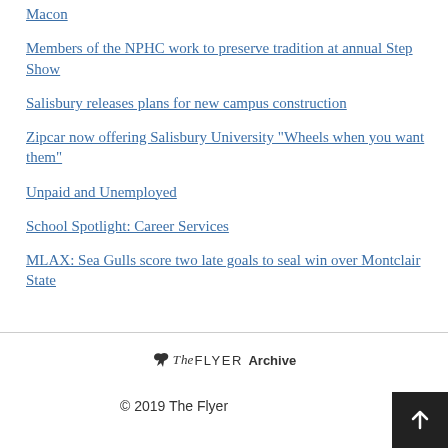Macon
Members of the NPHC work to preserve tradition at annual Step Show
Salisbury releases plans for new campus construction
Zipcar now offering Salisbury University "Wheels when you want them"
Unpaid and Unemployed
School Spotlight: Career Services
MLAX: Sea Gulls score two late goals to seal win over Montclair State
[Figure (logo): The FLYER Archive logo with a small bird icon]
© 2019 The Flyer